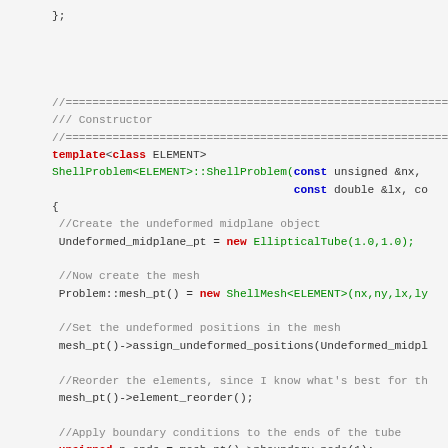};
//==========================================================
/// Constructor
//==========================================================
template<class ELEMENT>
ShellProblem<ELEMENT>::ShellProblem(const unsigned &nx,
                                    const double &lx, co
{
 //Create the undeformed midplane object
 Undeformed_midplane_pt = new EllipticalTube(1.0,1.0);

 //Now create the mesh
 Problem::mesh_pt() = new ShellMesh<ELEMENT>(nx,ny,lx,ly

 //Set the undeformed positions in the mesh
 mesh_pt()->assign_undeformed_positions(Undeformed_midpl

 //Reorder the elements, since I know what's best for th
 mesh_pt()->element_reorder();

 //Apply boundary conditions to the ends of the tube
 unsigned n_ends = mesh_pt()->nboundary_node(1);
 //Loop over the node